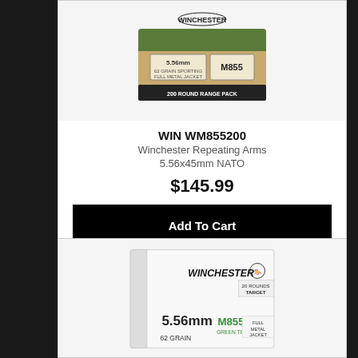[Figure (photo): Winchester M855 200 Round Range Pack box of 5.56mm ammunition, tan/brown cardboard box with green label]
WIN WM855200
Winchester Repeating Arms
5.56x45mm NATO
$145.99
Add To Cart
[Figure (photo): Winchester M855 Green Tip 5.56mm 62 Grain Full Metal Jacket 20 Rounds Target box, white box with black Winchester logo and green M855 branding]